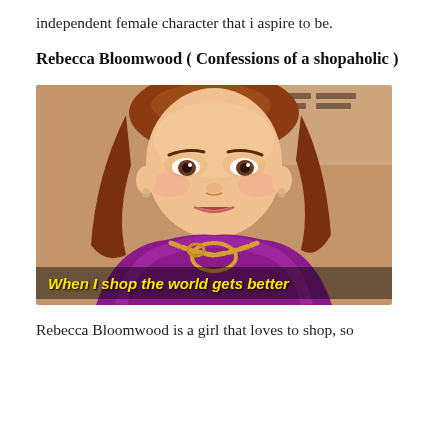independent female character that i aspire to be.
Rebecca Bloomwood ( Confessions of a shopaholic )
[Figure (photo): A red-haired woman in a purple outfit with a gold chain necklace, with subtitle text 'When I shop the world gets better']
Rebecca Bloomwood is a girl that loves to shop, so